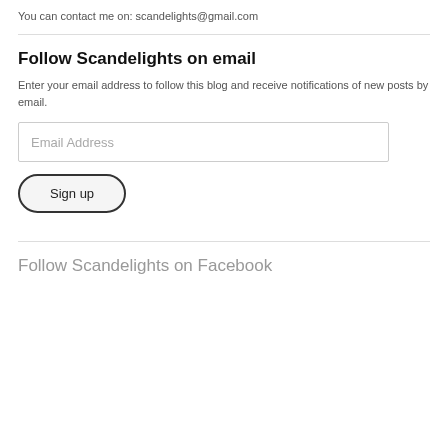You can contact me on: scandelights@gmail.com
Follow Scandelights on email
Enter your email address to follow this blog and receive notifications of new posts by email.
Email Address
Sign up
Follow Scandelights on Facebook